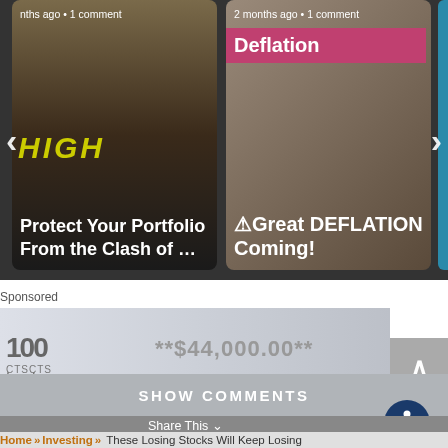[Figure (screenshot): Carousel of article cards. Left card: 'Protect Your Portfolio From the Clash of ...' with timestamp 'nths ago • 1 comment'. Right card: 'Deflation ⚠Great DEFLATION Coming!' with timestamp '2 months ago • 1 comment'. Navigation arrows on sides.]
Sponsored
[Figure (photo): Advertisement banner showing a check with **$44,000.00** and check number No. 0175803960, with partial logo showing '100' and 'CTSCTS']
SHOW COMMENTS
Share This
Home » Investing » These Losing Stocks Will Keep Losing